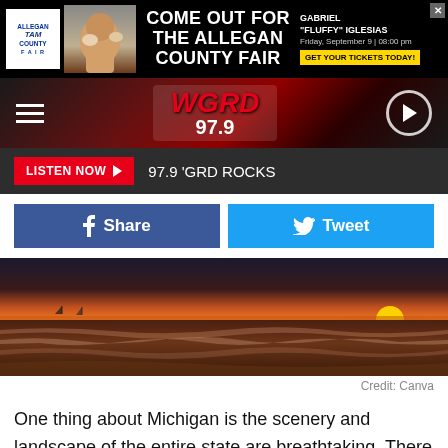[Figure (infographic): Allegan County Fair advertisement banner with logo, person holding dogs, and text 'COME OUT FOR THE ALLEGAN COUNTY FAIR' with Gabriel Fluffy Iglesias event info and 'GET YOUR TICKETS TODAY!' button]
[Figure (logo): WGRD 97.9 radio station navigation bar with hamburger menu, WGRD 97.9 logo in red, and play button]
LISTEN NOW  97.9 'GRD ROCKS
[Figure (infographic): Facebook Share and Twitter Tweet social sharing buttons]
[Figure (photo): Sunset over a Michigan lake/ocean beach with waves and darkened sky with orange sun on horizon]
Credit: Canva
One thing about Michigan is the scenery and landscape of the entire state are breathtaking. There are several places to experience these beautiful sunsets.
When I asked Big Joe about the best places to see the